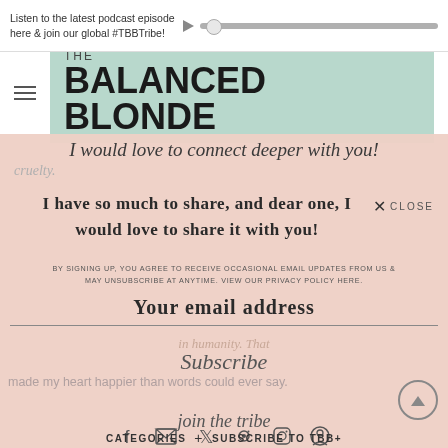Listen to the latest podcast episode here & join our global #TBBTribe!
THE BALANCED BLONDE
I would love to connect deeper with you!
cruelty.
I have so much to share, and dear one, I would love to share it with you!
BY SIGNING UP, YOU AGREE TO RECEIVE OCCASIONAL EMAIL UPDATES FROM US & MAY UNSUBSCRIBE AT ANYTIME. VIEW OUR PRIVACY POLICY HERE.
Your email address
Subscribe
humanity. That made my heart happier than words could ever say.
join the tribe
CATEGORIES + SUBSCRIBE TO TBB+